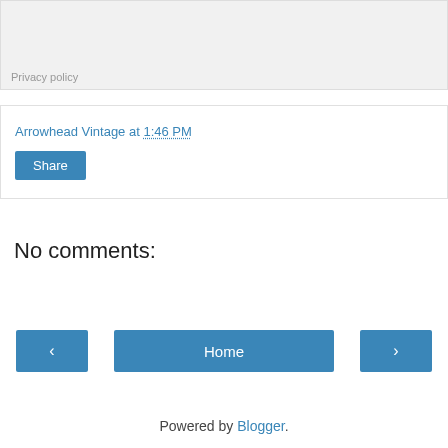Privacy policy
Arrowhead Vintage at 1:46 PM
Share
No comments:
Post a Comment
‹
Home
›
View web version
Powered by Blogger.